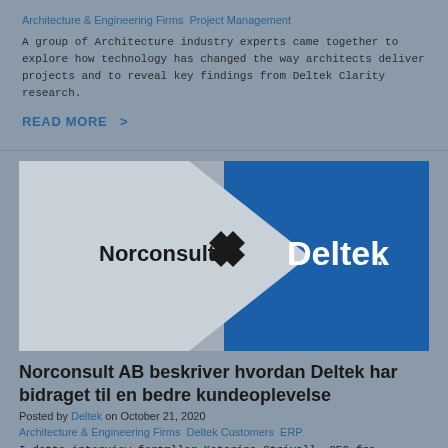Architecture & Engineering Firms  Project Management
A group of Architecture industry experts came together to explore how technology has changed the way architects deliver projects and to reveal key findings from Deltek Clarity research.
READ MORE  >
[Figure (illustration): Banner image showing Norconsult logo on grey background with a white arrow shape pointing right toward a blue background with Deltek logo in white text.]
Norconsult AB beskriver hvordan Deltek har bidraget til en bedre kundeoplevelse
Posted by Deltek on October 21, 2020
Architecture & Engineering Firms  Deltek Customers  ERP
I dette interview fortæller Katarina Strivall, CEO fra Norconsult AB i Sverige